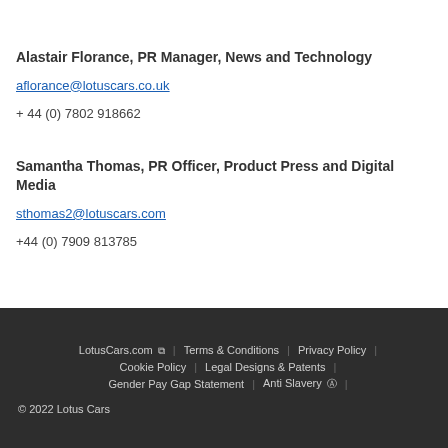Alastair Florance, PR Manager, News and Technology
aflorance@lotuscars.co.uk
+ 44 (0) 7802 918662
Samantha Thomas, PR Officer, Product Press and Digital Media
sthomas2@lotuscars.com
+44 (0) 7909 813785
LotusCars.com | Terms & Conditions | Privacy Policy | Cookie Policy | Legal Designs & Patents | Gender Pay Gap Statement | Anti Slavery | © 2022 Lotus Cars